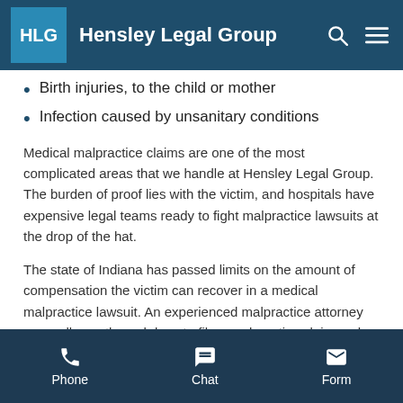Hensley Legal Group
Birth injuries, to the child or mother
Infection caused by unsanitary conditions
Medical malpractice claims are one of the most complicated areas that we handle at Hensley Legal Group. The burden of proof lies with the victim, and hospitals have expensive legal teams ready to fight malpractice lawsuits at the drop of the hat.
The state of Indiana has passed limits on the amount of compensation the victim can recover in a medical malpractice lawsuit. An experienced malpractice attorney can walk you through how to file a malpractice claim and what compensation you are entitled to.
Phone  Chat  Form